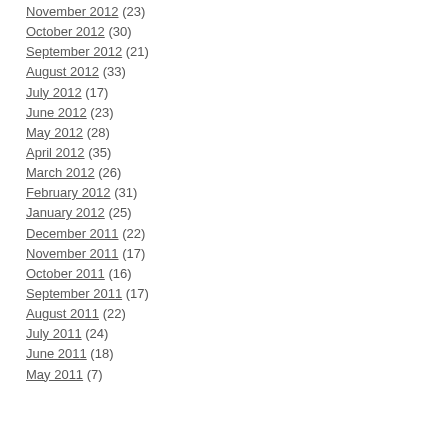November 2012 (23)
October 2012 (30)
September 2012 (21)
August 2012 (33)
July 2012 (17)
June 2012 (23)
May 2012 (28)
April 2012 (35)
March 2012 (26)
February 2012 (31)
January 2012 (25)
December 2011 (22)
November 2011 (17)
October 2011 (16)
September 2011 (17)
August 2011 (22)
July 2011 (24)
June 2011 (18)
May 2011 (7)